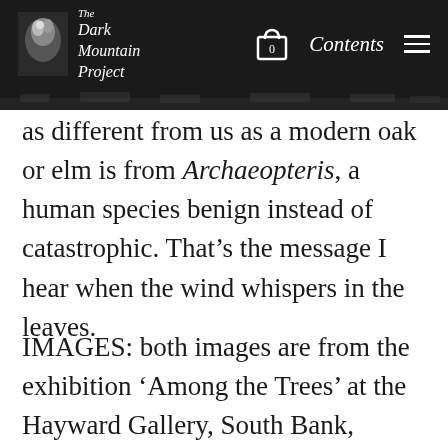The Dark Mountain Project | Contents
as different from us as a modern oak or elm is from Archaeopteris, a human species benign instead of catastrophic. That’s the message I hear when the wind whispers in the leaves.
IMAGES: both images are from the exhibition ‘Among the Trees’ at the Hayward Gallery, South Bank, London. Among the Trees brings together major